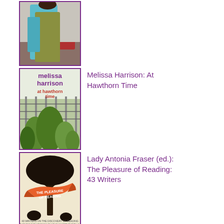[Figure (photo): Book cover partially visible at top - person in teal/turquoise outfit and olive green coat]
[Figure (photo): Book cover of 'At Hawthorn Time' by Melissa Harrison - green grassy plants against a fence]
Melissa Harrison: At Hawthorn Time
[Figure (photo): Book cover of 'The Pleasure of Reading' edited by Antonia Fraser - black tree silhouette with orange banner ribbon]
Lady Antonia Fraser (ed.): The Pleasure of Reading: 43 Writers